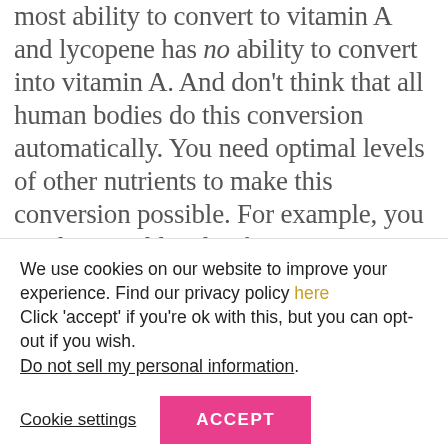most ability to convert to vitamin A and lycopene has no ability to convert into vitamin A. And don't think that all human bodies do this conversion automatically. You need optimal levels of other nutrients to make this conversion possible. For example, you need optimal levels of zinc to convert beta-carotene to vitamin A, and many people are zinc deficient, especially vegans and
We use cookies on our website to improve your experience. Find our privacy policy here Click 'accept' if you're ok with this, but you can opt-out if you wish. Do not sell my personal information.
Cookie settings | ACCEPT